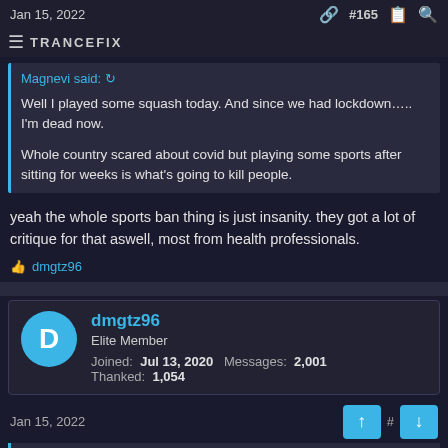Jan 15, 2022   TRANCEFIX   #165
Magnevi said:
Well I played some squash today. And since we had lockdown….. I'm dead now.

Whole country scared about covid but playing some sports after sitting for weeks is what's going to kill people.
yeah the whole sports ban thing is just insanity. they got a lot of critique for that aswell, most from health professionals.
👍 dmgtz96
dmgtz96
Elite Member
Joined: Jul 13, 2020   Messages: 2,001
Thanked: 1,054
Jan 15, 2022